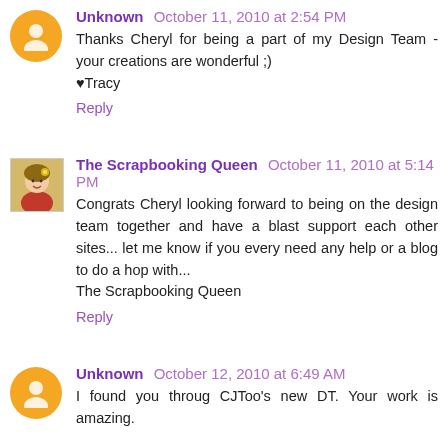Unknown October 11, 2010 at 2:54 PM
Thanks Cheryl for being a part of my Design Team - your creations are wonderful ;)
♥Tracy
Reply
The Scrapbooking Queen October 11, 2010 at 5:14 PM
Congrats Cheryl looking forward to being on the design team together and have a blast support each other sites... let me know if you every need any help or a blog to do a hop with...
The Scrapbooking Queen
Reply
Unknown October 12, 2010 at 6:49 AM
I found you throug CJToo's new DT. Your work is amazing.